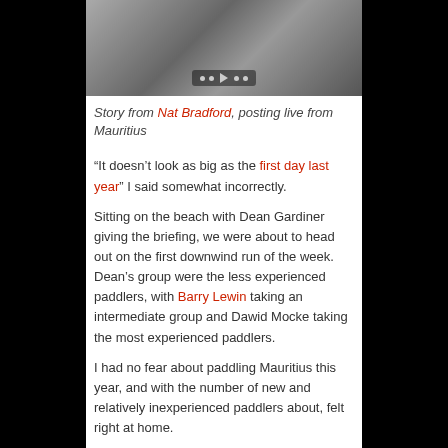[Figure (photo): Kayaker paddling in water, viewed from above, with video player controls overlay at bottom]
Story from Nat Bradford, posting live from Mauritius
“It doesn’t look as big as the first day last year” I said somewhat incorrectly.
Sitting on the beach with Dean Gardiner giving the briefing, we were about to head out on the first downwind run of the week. Dean’s group were the less experienced paddlers, with Barry Lewin taking an intermediate group and Dawid Mocke taking the most experienced paddlers.
I had no fear about paddling Mauritius this year, and with the number of new and relatively inexperienced paddlers about, felt right at home.
The pass out of Tamassa at Bel Ombre was bumpy, but not too tricky. It was then I realized just quite how wrong I’d been about the conditions. It was 3